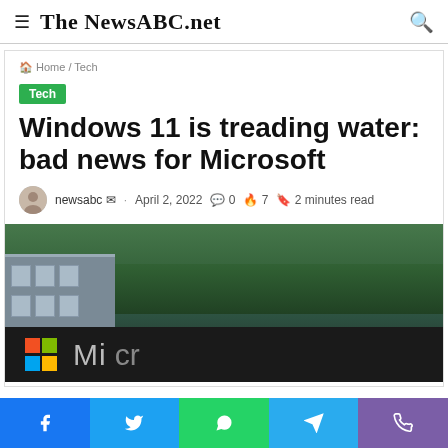≡ The NewsABC.net 🔍
🏠 Home / Tech
Tech
Windows 11 is treading water: bad news for Microsoft
newsabc ✉ · April 2, 2022 💬 0 🔥 7 🔖 2 minutes read
[Figure (photo): Microsoft campus sign with colorful Microsoft logo (red, green, blue, yellow squares) on a dark background, with trees and a building visible in the background]
Facebook Twitter WhatsApp Telegram Viber